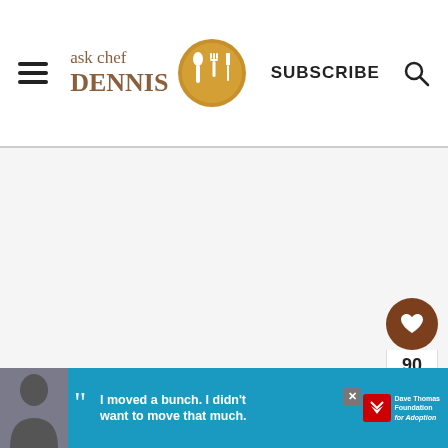ask chef DENNIS — SUBSCRIBE
[Figure (screenshot): Main content area, mostly white/light gray blank space]
[Figure (infographic): Social sidebar with heart button (90 likes) and share button]
[Figure (infographic): What's Next panel with thumbnail and text: Sweet and Salty Chex ...]
[Figure (infographic): Advertisement banner: 'I moved a bunch. I didn't want to move that much.' Dave Thomas Foundation for Adoption]